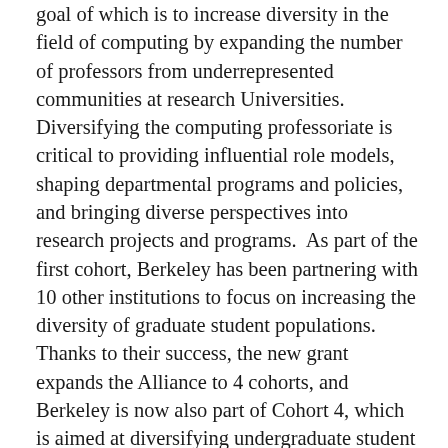goal of which is to increase diversity in the field of computing by expanding the number of professors from underrepresented communities at research Universities. Diversifying the computing professoriate is critical to providing influential role models, shaping departmental programs and policies, and bringing diverse perspectives into research projects and programs.  As part of the first cohort, Berkeley has been partnering with 10 other institutions to focus on increasing the diversity of graduate student populations.  Thanks to their success, the new grant expands the Alliance to 4 cohorts, and Berkeley is now also part of Cohort 4, which is aimed at diversifying undergraduate student populations.  EECS representatives Prof. Armando Fox and Director of Diversity Audrey Sillers have started a mentoring program across institutions, participate in monthly cohort conference calls, attend many professional development events including two All Hands Meetings per year where cohort universities share best practices, and present what they have learned at the annual CMD-IT/ACM Richard Tania Celebration of Diversity in Computing Conference